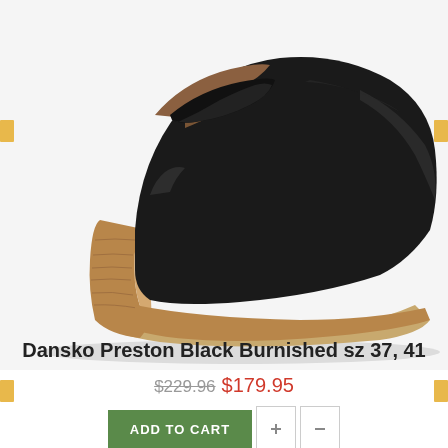[Figure (photo): Side profile of a Dansko Preston black burnished leather loafer with a wood-grain block heel on a white background]
Dansko Preston Black Burnished sz 37, 41
$229.96 $179.95
ADD TO CART